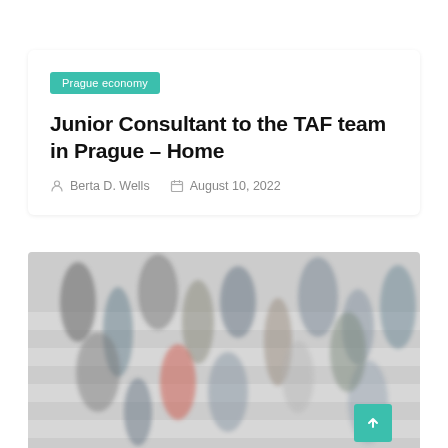Prague economy
Junior Consultant to the TAF team in Prague – Home
Berta D. Wells   August 10, 2022
[Figure (photo): Blurred motion photo of a crowd of people crossing a busy pedestrian crosswalk]